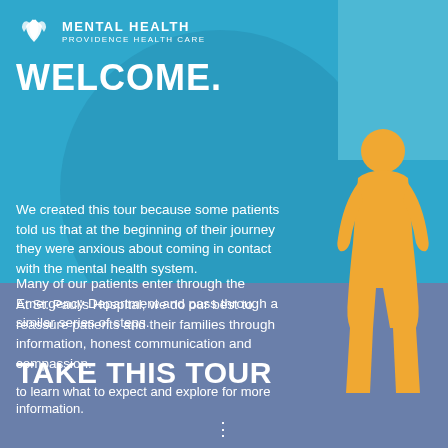[Figure (logo): Mental Health Providence Health Care logo with white lotus/leaf icon and text]
WELCOME.
We created this tour because some patients told us that at the beginning of their journey they were anxious about coming in contact with the mental health system.
At St. Paul's Hospital, we do our best to reassure patients and their families through information, honest communication and compassion.
Many of our patients enter through the Emergency Department and pass through a similar series of steps.
TAKE THIS TOUR
to learn what to expect and explore for more information.